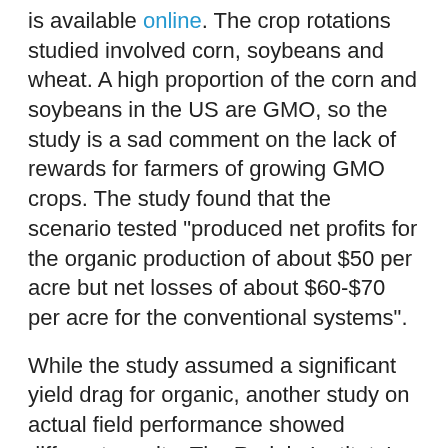is available online. The crop rotations studied involved corn, soybeans and wheat. A high proportion of the corn and soybeans in the US are GMO, so the study is a sad comment on the lack of rewards for farmers of growing GMO crops. The study found that the scenario tested "produced net profits for the organic production of about $50 per acre but net losses of about $60-$70 per acre for the conventional systems".
While the study assumed a significant yield drag for organic, another study on actual field performance showed different results. The Rodale Institute's Farming Systems Trial is the longest-running side-by-side comparison of organic and conventional grain cropping systems in North America. It has found that organic yields are competitive with conventional yields after a 5-year transition period and that organic yields can be up to 40% higher in times of drought, due to the healthier soils, which hold moisture better. The Rodale's "conventional" plots include GM crops, in order to better